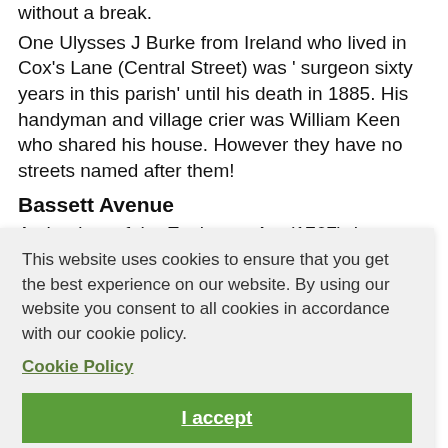without a break.
One Ulysses J Burke from Ireland who lived in Cox's Lane (Central Street) was ' surgeon sixty years in this parish' until his death in 1885. His handyman and village crier was William Keen who shared his house. However they have no streets named after them!
Bassett Avenue
At the time of the Enclosure Act (1767) the open fields of Countesthorpe were divided up and allocated to those ...lings of ...urch ...s in
[Figure (screenshot): Cookie consent overlay with text: 'This website uses cookies to ensure that you get the best experience on our website. By using our website you consent to all cookies in accordance with our cookie policy.' followed by a 'Cookie Policy' link and an 'I accept' button.]
The railway came to Countesthorpe in 1840 on its way